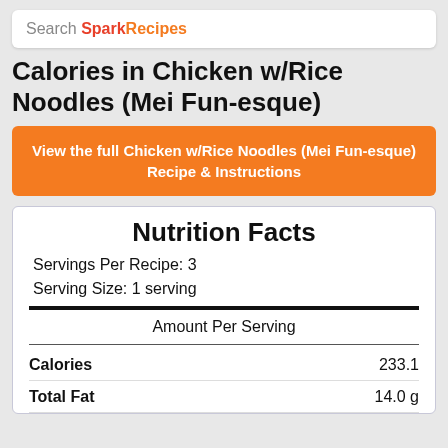Search SparkRecipes
Calories in Chicken w/Rice Noodles (Mei Fun-esque)
View the full Chicken w/Rice Noodles (Mei Fun-esque) Recipe & Instructions
| Nutrition Facts |  |
| --- | --- |
| Servings Per Recipe: | 3 |
| Serving Size: | 1 serving |
| Amount Per Serving |  |
| Calories | 233.1 |
| Total Fat | 14.0 g |